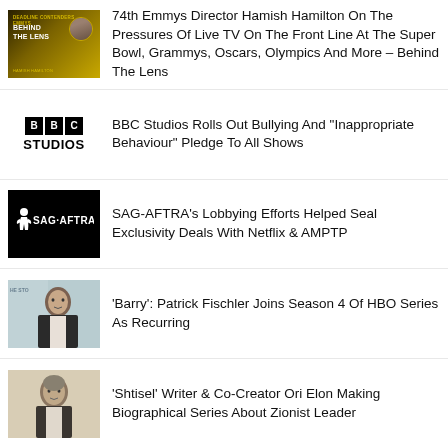74th Emmys Director Hamish Hamilton On The Pressures Of Live TV On The Front Line At The Super Bowl, Grammys, Oscars, Olympics And More – Behind The Lens
BBC Studios Rolls Out Bullying And “Inappropriate Behaviour” Pledge To All Shows
SAG-AFTRA’s Lobbying Efforts Helped Seal Exclusivity Deals With Netflix & AMPTP
‘Barry’: Patrick Fischler Joins Season 4 Of HBO Series As Recurring
‘Shtisel’ Writer & Co-Creator Ori Elon Making Biographical Series About Zionist Leader